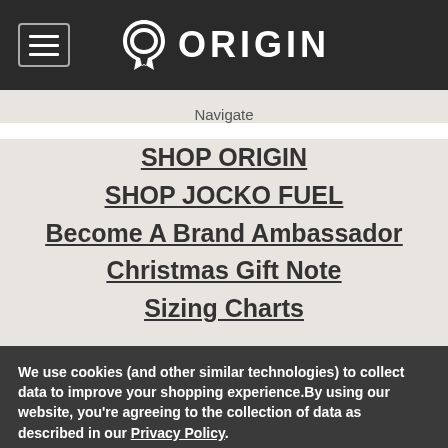ORIGIN
Navigate
SHOP ORIGIN
SHOP JOCKO FUEL
Become A Brand Ambassador
Christmas Gift Note
Sizing Charts
We use cookies (and other similar technologies) to collect data to improve your shopping experience.By using our website, you're agreeing to the collection of data as described in our Privacy Policy.